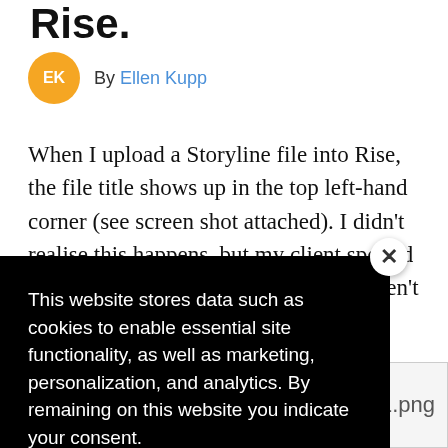Rise.
By Ellen Kupp
When I upload a Storyline file into Rise, the file title shows up in the top left-hand corner (see screen shot attached). I didn't realise this happens, but my client spotted it and wants the titles changed — they aren't …blishing …ns. Is there …e it
[Figure (screenshot): Cookie consent popup overlay on black background with close button (X), text about website storing data for cookies, marketing, personalization, and analytics, and a Privacy Notice link.]
[Figure (screenshot): Partial image thumbnail showing filename ending in .png]